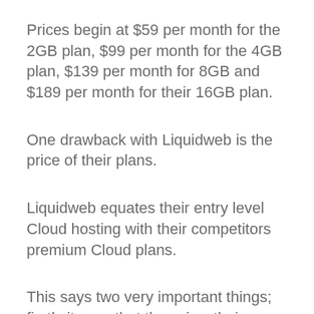Prices begin at $59 per month for the 2GB plan, $99 per month for the 4GB plan, $139 per month for 8GB and $189 per month for their 16GB plan.
One drawback with Liquidweb is the price of their plans.
Liquidweb equates their entry level Cloud hosting with their competitors premium Cloud plans.
This says two very important things; firstly it says that they view their